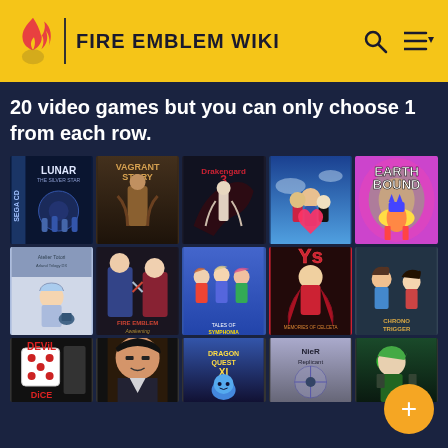FIRE EMBLEM WIKI
20 video games but you can only choose 1 from each row.
[Figure (photo): Grid of video game cover art arranged in 3 rows of 5 games each. Row 1: Lunar: The Silver Star (Sega CD), Vagrant Story, Drakengard 3, Kingdom Hearts, EarthBound. Row 2: Atelier (Arland Trilogy?), Fire Emblem: Awakening, Tales of (Symphonia?), Ys: Memories of Celceta, Chrono Trigger. Row 3: Devil Dice, Yakuza (Ryū ga Gotoku), Dragon Quest XI, NieR Replicant, (unknown green-haired character).]